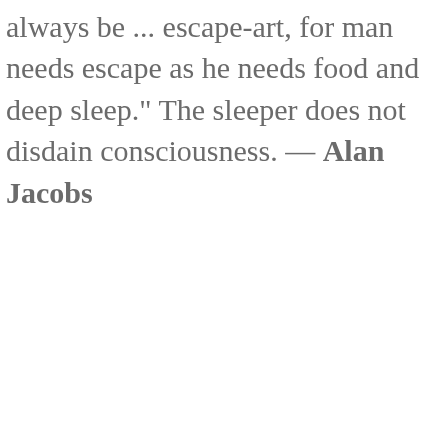always be ... escape-art, for man needs escape as he needs food and deep sleep." The sleeper does not disdain consciousness. — Alan Jacobs